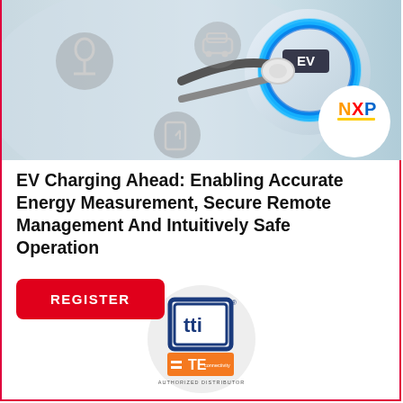[Figure (photo): Photo of EV charging connector plugged into an electric vehicle charging port with blue LED ring light, with NXP semiconductor logo in white circle in bottom-right corner. Background shows white car with wireless connectivity icons.]
EV Charging Ahead: Enabling Accurate Energy Measurement, Secure Remote Management And Intuitively Safe Operation
[Figure (logo): TTI and TE Connectivity Authorized Distributor logo inside a light gray circle. TTI logo on top (dark blue bordered square with TTI letters) and TE Connectivity orange rectangle logo below with white equals sign and TE text, with AUTHORIZED DISTRIBUTOR text underneath.]